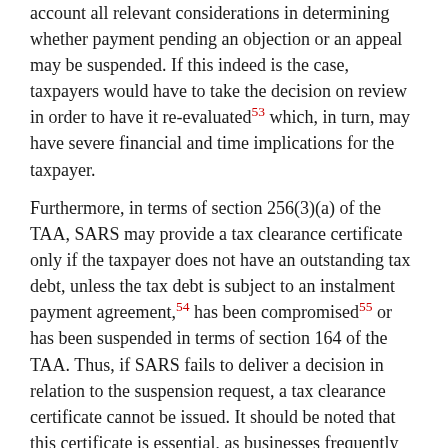account all relevant considerations in determining whether payment pending an objection or an appeal may be suspended. If this indeed is the case, taxpayers would have to take the decision on review in order to have it re-evaluated53 which, in turn, may have severe financial and time implications for the taxpayer.
Furthermore, in terms of section 256(3)(a) of the TAA, SARS may provide a tax clearance certificate only if the taxpayer does not have an outstanding tax debt, unless the tax debt is subject to an instalment payment agreement,54 has been compromised55 or has been suspended in terms of section 164 of the TAA. Thus, if SARS fails to deliver a decision in relation to the suspension request, a tax clearance certificate cannot be issued. It should be noted that this certificate is essential, as businesses frequently require it in tender processes or before a particular service can be rendered. 56